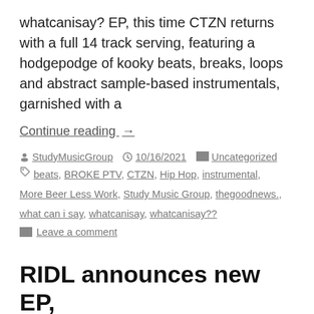whatcanisay? EP, this time CTZN returns with a full 14 track serving, featuring a hodgepodge of kooky beats, breaks, loops and abstract sample-based instrumentals, garnished with a
Continue reading →
By StudyMusicGroup  10/16/2021  Uncategorized
Tags: beats, BROKE PTV, CTZN, Hip Hop, instrumental, More Beer Less Work, Study Music Group, thegoodnews., what can i say, whatcanisay, whatcanisay??
Leave a comment
RIDL announces new EP, drops single & cover art...